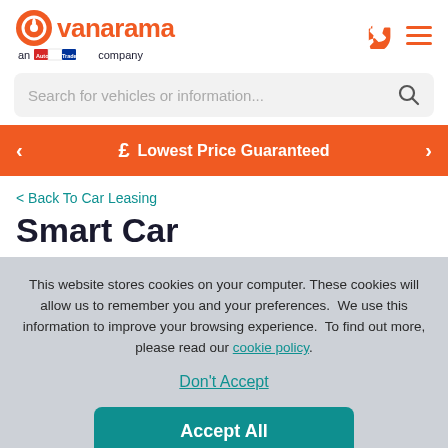[Figure (logo): Vanarama logo with orange circular icon and orange text, subtitle 'an AutoTrader company']
Search for vehicles or information...
£  Lowest Price Guaranteed
< Back To Car Leasing
Smart Car
This website stores cookies on your computer. These cookies will allow us to remember you and your preferences.  We use this information to improve your browsing experience.  To find out more, please read our cookie policy.
Don't Accept
Accept All